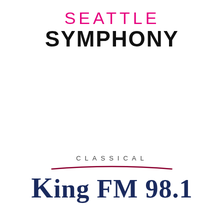[Figure (logo): Seattle Symphony logo with 'SEATTLE' in pink/magenta and 'SYMPHONY' in bold black, stacked text]
[Figure (logo): Classical KING FM 98.1 logo with 'CLASSICAL' in spaced gray text, a dark red curved line, and 'KING FM 98.1' in large dark navy serif font]